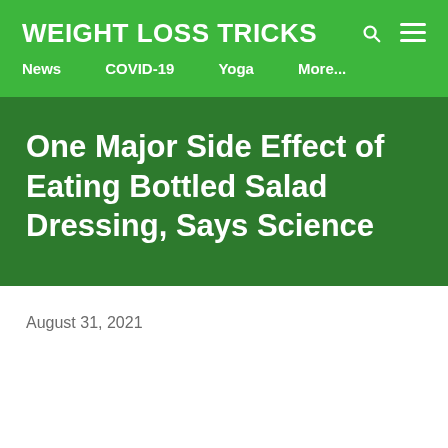WEIGHT LOSS TRICKS
News  COVID-19  Yoga  More...
One Major Side Effect of Eating Bottled Salad Dressing, Says Science
August 31, 2021